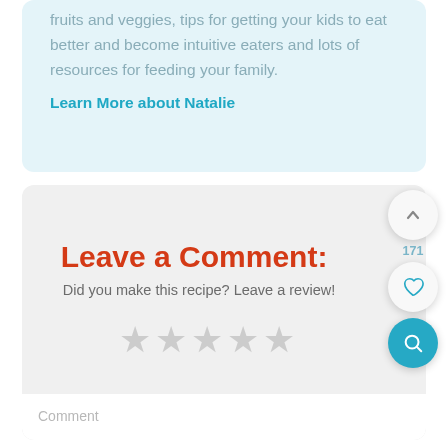fruits and veggies, tips for getting your kids to eat better and become intuitive eaters and lots of resources for feeding your family.
Learn More about Natalie
Leave a Comment:
Did you make this recipe? Leave a review!
[Figure (other): Five empty star rating icons for review input]
Comment